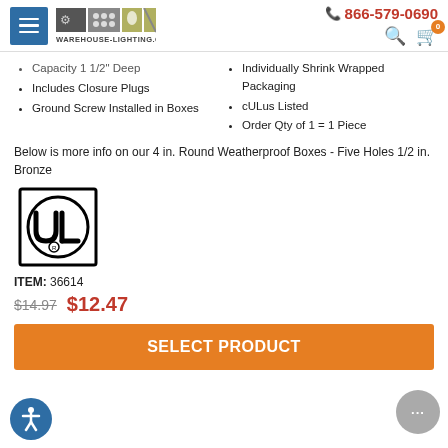Warehouse-Lighting.com | 866-579-0690
Capacity 1-1/2" Deep
Includes Closure Plugs
Ground Screw Installed in Boxes
Individually Shrink Wrapped Packaging
cULus Listed
Order Qty of 1 = 1 Piece
Below is more info on our 4 in. Round Weatherproof Boxes - Five Holes 1/2 in. Bronze
[Figure (logo): UL certification mark — circular UL logo inside a square border]
ITEM: 36614
$14.97  $12.47
SELECT PRODUCT